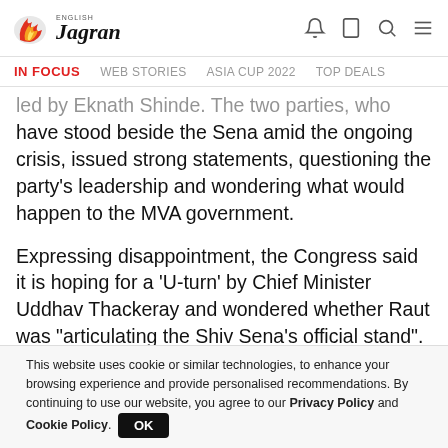English Jagran
IN FOCUS   WEB STORIES   ASIA CUP 2022   TOP DEALS
...led by Eknath Shinde. The two parties, who have stood beside the Sena amid the ongoing crisis, issued strong statements, questioning the party's leadership and wondering what would happen to the MVA government.
Expressing disappointment, the Congress said it is hoping for a 'U-turn' by Chief Minister Uddhav Thackeray and wondered whether Raut was "articulating the Shiv Sena's official stand". "Does
This website uses cookie or similar technologies, to enhance your browsing experience and provide personalised recommendations. By continuing to use our website, you agree to our Privacy Policy and Cookie Policy. OK